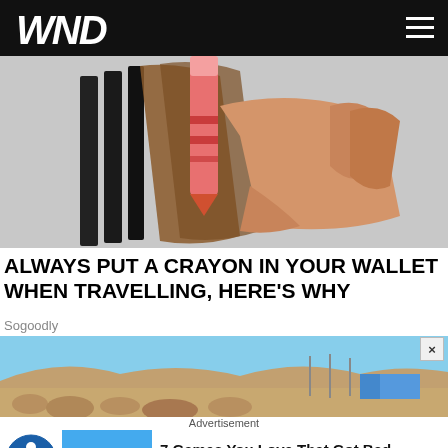WND
[Figure (photo): Close-up photo of a hand holding a wallet open with a red/pink crayon inserted between the cards]
ALWAYS PUT A CRAYON IN YOUR WALLET WHEN TRAVELLING, HERE'S WHY
Sogoodly
[Figure (photo): Outdoor landscape photo showing a rocky, desert-like terrain with poles and a blue building in the background under a clear blue sky]
Advertisement
[Figure (screenshot): Advertisement thumbnail showing a colorful video game scene]
7 Games You Love That Got Bad Reviews